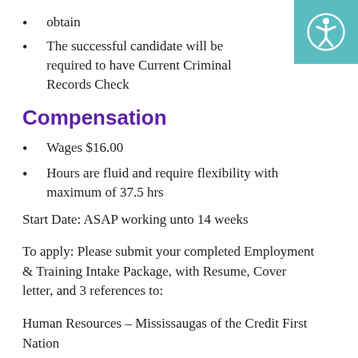obtain
The successful candidate will be required to have Current Criminal Records Check
Compensation
Wages $16.00
Hours are fluid and require flexibility with maximum of 37.5 hrs
Start Date: ASAP working unto 14 weeks
To apply: Please submit your completed Employment & Training Intake Package, with Resume, Cover letter, and 3 references to:
Human Resources – Mississaugas of the Credit First Nation